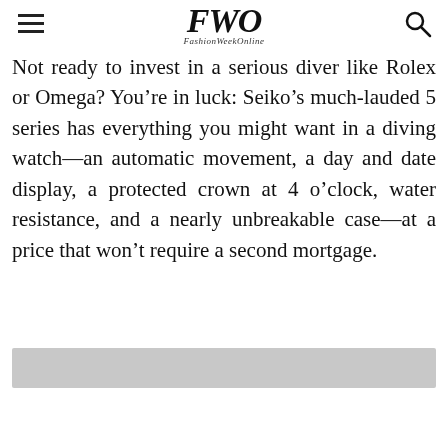FWO FashionWeekOnline
Not ready to invest in a serious diver like Rolex or Omega? You’re in luck: Seiko’s much-lauded 5 series has everything you might want in a diving watch—an automatic movement, a day and date display, a protected crown at 4 o’clock, water resistance, and a nearly unbreakable case—at a price that won’t require a second mortgage.
[Figure (other): Gray advertisement banner placeholder]